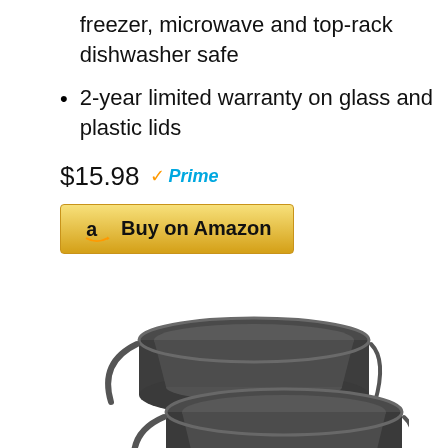freezer, microwave and top-rack dishwasher safe
2-year limited warranty on glass and plastic lids
$15.98 ✓Prime
Buy on Amazon
[Figure (photo): Two dark gray non-stick loaf pans stacked offset from each other, shown at an angle]